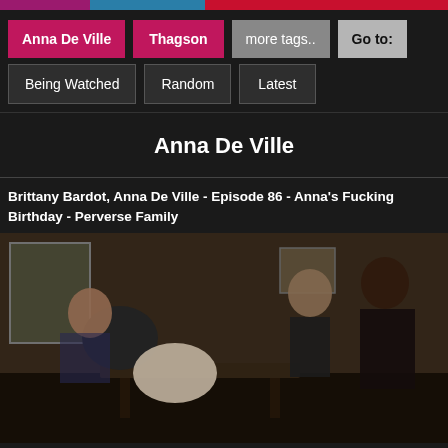[Figure (screenshot): Top navigation bar with colored strips: purple, blue, red]
Anna De Ville  Thagson  more tags..  Go to:
Being Watched  Random  Latest
Anna De Ville
Brittany Bardot, Anna De Ville - Episode 86 - Anna's Fucking Birthday - Perverse Family
[Figure (photo): Video thumbnail showing multiple people in an indoor scene]